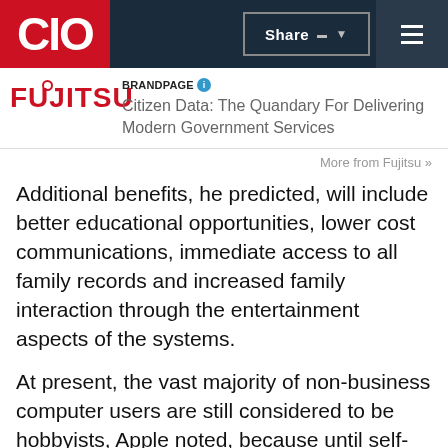CIO
[Figure (logo): Fujitsu logo with brand page label and article title: Citizen Data: The Quandary For Delivering Modern Government Services]
BRAND PAGE
Citizen Data: The Quandary For Delivering Modern Government Services
More from Fujitsu »
Additional benefits, he predicted, will include better educational opportunities, lower cost communications, immediate access to all family records and increased family interaction through the entertainment aspects of the systems.
At present, the vast majority of non-business computer users are still considered to be hobbyists, Apple noted, because until self-contained machines like Apple II came along, home computers required some technical understanding to assemble and program them. Now, the self-contained machines can be taken home, unpacked, plugged in and put